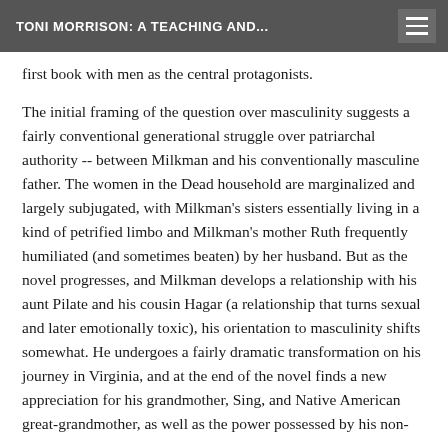TONI MORRISON: A TEACHING AND...
first book with men as the central protagonists.
The initial framing of the question over masculinity suggests a fairly conventional generational struggle over patriarchal authority -- between Milkman and his conventionally masculine father. The women in the Dead household are marginalized and largely subjugated, with Milkman's sisters essentially living in a kind of petrified limbo and Milkman's mother Ruth frequently humiliated (and sometimes beaten) by her husband. But as the novel progresses, and Milkman develops a relationship with his aunt Pilate and his cousin Hagar (a relationship that turns sexual and later emotionally toxic), his orientation to masculinity shifts somewhat. He undergoes a fairly dramatic transformation on his journey in Virginia, and at the end of the novel finds a new appreciation for his grandmother, Sing, and Native American great-grandmother, as well as the power possessed by his non-